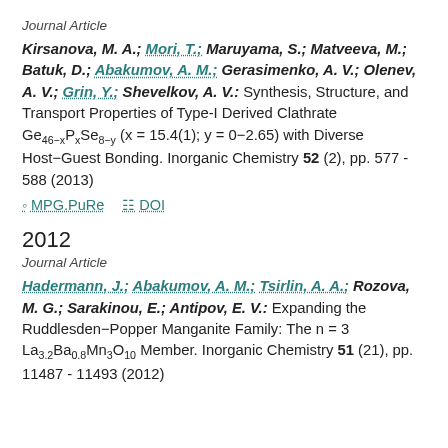Journal Article
Kirsanova, M. A.; Mori, T.; Maruyama, S.; Matveeva, M.; Batuk, D.; Abakumov, A. M.; Gerasimenko, A. V.; Olenev, A. V.; Grin, Y.; Shevelkov, A. V.: Synthesis, Structure, and Transport Properties of Type-I Derived Clathrate Ge46-xPxSe8-y (x = 15.4(1); y = 0-2.65) with Diverse Host-Guest Bonding. Inorganic Chemistry 52 (2), pp. 577 - 588 (2013)
MPG.PuRe   DOI
2012
Journal Article
Hadermann, J.; Abakumov, A. M.; Tsirlin, A. A.; Rozova, M. G.; Sarakinou, E.; Antipov, E. V.: Expanding the Ruddlesden-Popper Manganite Family: The n = 3 La3.2Ba0.8Mn3O10 Member. Inorganic Chemistry 51 (21), pp. 11487 - 11493 (2012)